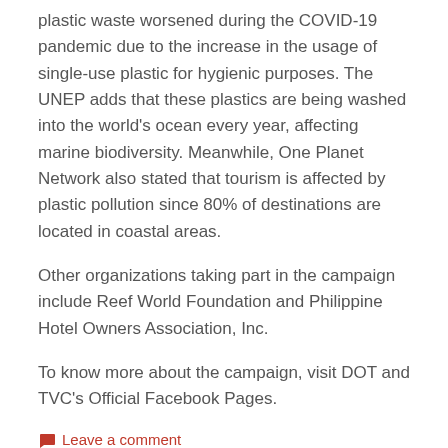plastic waste worsened during the COVID-19 pandemic due to the increase in the usage of single-use plastic for hygienic purposes. The UNEP adds that these plastics are being washed into the world's ocean every year, affecting marine biodiversity. Meanwhile, One Planet Network also stated that tourism is affected by plastic pollution since 80% of destinations are located in coastal areas.
Other organizations taking part in the campaign include Reef World Foundation and Philippine Hotel Owners Association, Inc.
To know more about the campaign, visit DOT and TVC's Official Facebook Pages.
💬 Leave a comment
January 14, 2021
DOT to assist Zambales in safe and